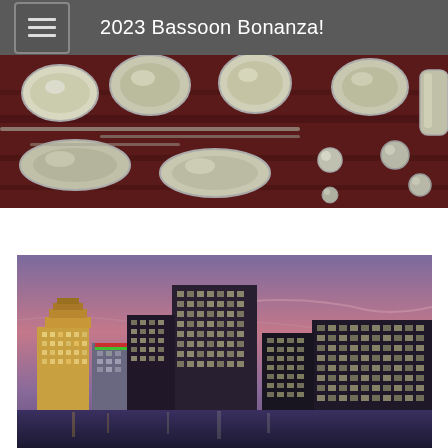2023 Bassoon Bonanza!
[Figure (photo): Close-up photo of bassoon keys and metal pads on a dark red wooden body of the instrument]
[Figure (photo): City skyline at dusk with purple/pink sky, showing tall illuminated skyscrapers]